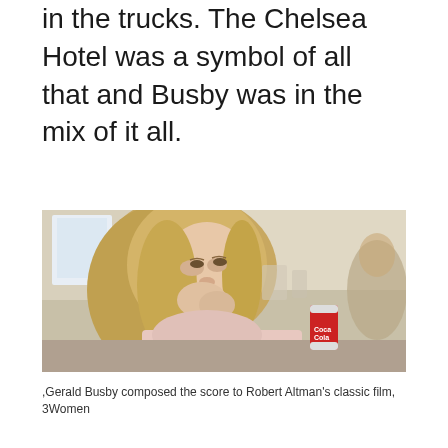in the trucks. The Chelsea Hotel was a symbol of all that and Busby was in the mix of it all.
[Figure (photo): A young blonde woman leaning forward, appearing to eat or drink something, with a red Coca-Cola can visible in the background. Film still from 3Women.]
,Gerald Busby composed the score to Robert Altman's classic film, 3Women